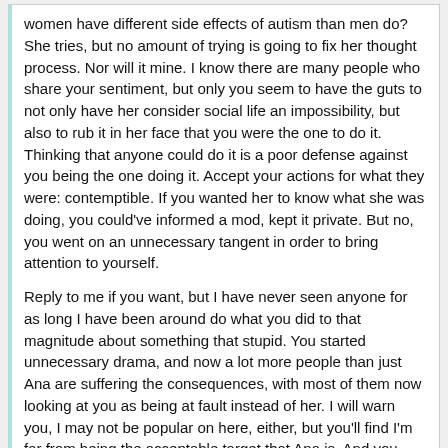women have different side effects of autism than men do? She tries, but no amount of trying is going to fix her thought process. Nor will it mine. I know there are many people who share your sentiment, but only you seem to have the guts to not only have her consider social life an impossibility, but also to rub it in her face that you were the one to do it. Thinking that anyone could do it is a poor defense against you being the one doing it. Accept your actions for what they were: contemptible. If you wanted her to know what she was doing, you could've informed a mod, kept it private. But no, you went on an unnecessary tangent in order to bring attention to yourself.
Reply to me if you want, but I have never seen anyone for as long I have been around do what you did to that magnitude about something that stupid. You started unnecessary drama, and now a lot more people than just Ana are suffering the consequences, with most of them now looking at you as being at fault instead of her. I will warn you, I may not be popular on here, either, but you'll find I'm far from being the acceptable target that Ana is. And you shouldn't expect me to do as she did.
Me starting drama? There was already drama in that thread started by